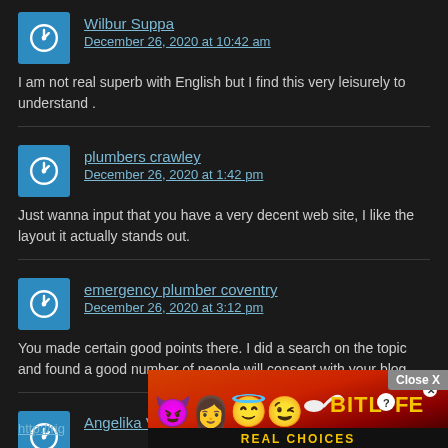Wilbur Suppa
December 26, 2020 at 10:42 am
I am not real superb with English but I find this very leisurely to understand .
plumbers crawley
December 26, 2020 at 1:42 pm
Just wanna input that you have a very decent web site, I like the layout it actually stands out.
emergency plumber coventry
December 26, 2020 at 3:12 pm
You made certain good points there. I did a search on the topic and found a good number of people will consent with your blog.
Angelika Volcko
http://rig
[Figure (screenshot): BitLife Real Choices advertisement banner with emojis (devil, woman, angel, winking face) and yellow BitLife text on dark red background]